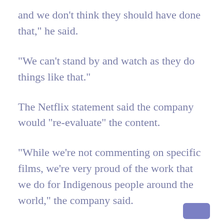and we don’t think they should have done that,” he said.
“We can’t stand by and watch as they do things like that.”
The Netflix statement said the company would “re-evaluate” the content.
“While we’re not commenting on specific films, we’re very proud of the work that we do for Indigenous people around the world,” the company said.
To be de...